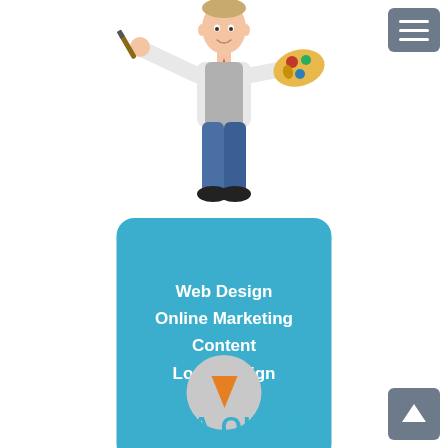[Figure (illustration): Cartoon character of a man in a vest and tie holding a paintbrush and artist's palette with colorful paint, standing upright, used as a mascot for web design services]
[Figure (infographic): Blue rounded rectangle box listing services: Web Design, Online Marketing, Content, Logo Design]
Web Design
Online Marketing
Content
Logo Design
[Figure (infographic): Gray circle with an orange downward-pointing arrow icon]
GET A QUOTE
[Figure (infographic): Dark gray hamburger menu button (three horizontal lines) in the top right corner]
[Figure (infographic): Dark gray upward arrow button in the bottom right corner]